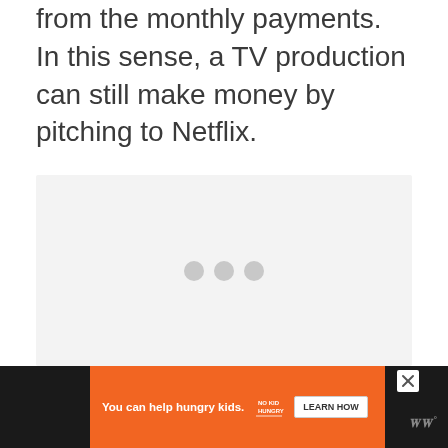from the monthly payments. In this sense, a TV production can still make money by pitching to Netflix.
[Figure (other): Loading placeholder with three gray dots on a light gray background]
[Figure (other): Advertisement banner: orange background with text 'You can help hungry kids.' and No Kid Hungry logo and LEARN HOW button, on dark background bar. Close X button visible. WW logo on right.]